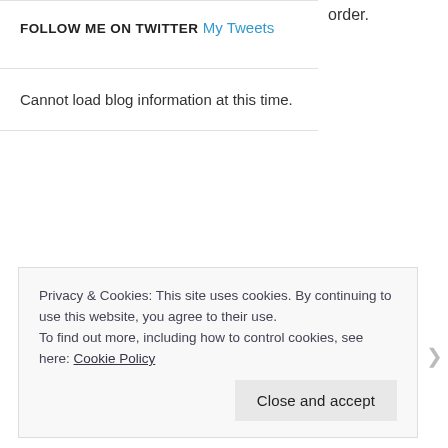order.
FOLLOW ME ON TWITTER
My Tweets
Cannot load blog information at this time.
Privacy & Cookies: This site uses cookies. By continuing to use this website, you agree to their use.
To find out more, including how to control cookies, see here: Cookie Policy
Close and accept